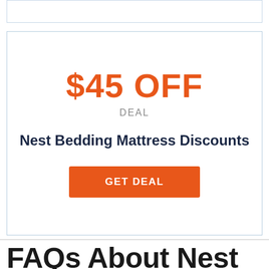[Figure (other): Empty top card/box with light blue border]
$45 OFF
DEAL
Nest Bedding Mattress Discounts
GET DEAL
FAQs About Nest